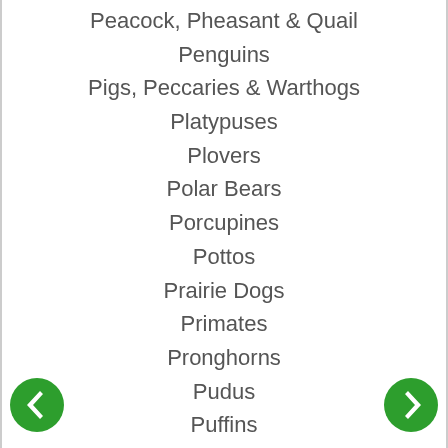Peacock, Pheasant & Quail
Penguins
Pigs, Peccaries & Warthogs
Platypuses
Plovers
Polar Bears
Porcupines
Pottos
Prairie Dogs
Primates
Pronghorns
Pudus
Puffins
Pygmy Hippos
Rabbits
Raccoons
Red Pandas
Rheas
Rhinos